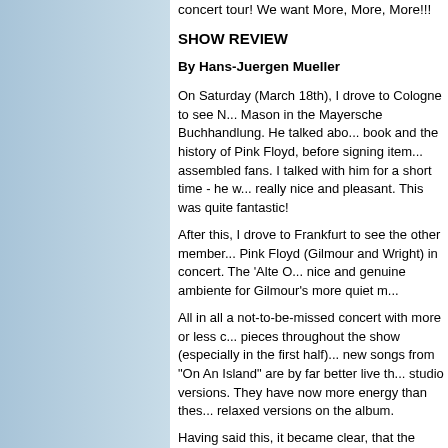concert tour! We want More, More, More!!!
SHOW REVIEW
By Hans-Juergen Mueller
On Saturday (March 18th), I drove to Cologne to see Nick Mason in the Mayersche Buchhandlung. He talked about his book and the history of Pink Floyd, before signing items for assembled fans. I talked with him for a short time - he was really nice and pleasant. This was quite fantastic!
After this, I drove to Frankfurt to see the other members of Pink Floyd (Gilmour and Wright) in concert. The 'Alte Oper' nice and genuine ambiente for Gilmour's more quiet m...
All in all a not-to-be-missed concert with more or less classical pieces throughout the show (especially in the first half). The new songs from "On An Island" are by far better live than the studio versions. They have now more energy than these more relaxed versions on the album.
Having said this, it became clear, that the audience (including me) loved better the second part and the encore of the show: a good mix between older and newer songs and some songs aside the normal Pink Floyd live set ("Wot's ... Uh The ...", "Wearing The Inside Out" and of course "Fat Old Sun" and "Dominoes").
I appreciated especially the complete "Echoes" and of course the perfect end of a concert "Comfortably Numb". An...